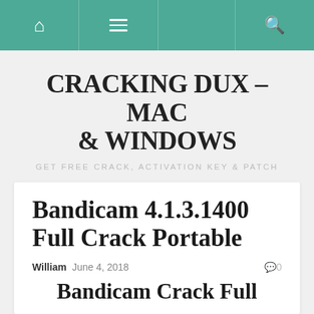CRACKING DUX - MAC & WINDOWS | GET FREE CRACK, ACTIVATION KEY & PATCH
Bandicam 4.1.3.1400 Full Crack Portable
William  June 4, 2018  0
Bandicam Crack Full